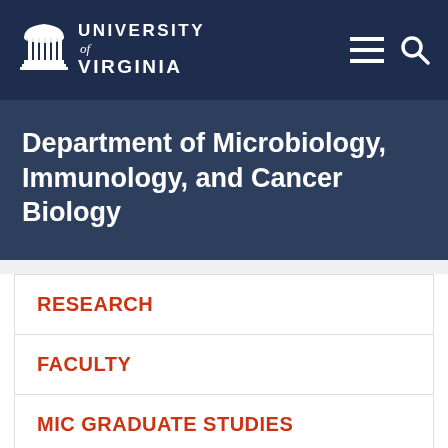University of Virginia
Department of Microbiology, Immunology, and Cancer Biology
RESEARCH
FACULTY
MIC GRADUATE STUDIES
MIC POSTDOCS
MIC SEMINARS